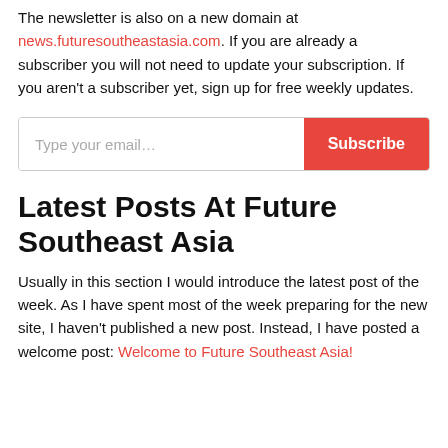The newsletter is also on a new domain at news.futuresoutheastasia.com. If you are already a subscriber you will not need to update your subscription. If you aren't a subscriber yet, sign up for free weekly updates.
[Figure (other): Email subscription input box with placeholder text 'Type your email...' and a red 'Subscribe' button]
Latest Posts At Future Southeast Asia
Usually in this section I would introduce the latest post of the week. As I have spent most of the week preparing for the new site, I haven't published a new post. Instead, I have posted a welcome post: Welcome to Future Southeast Asia!